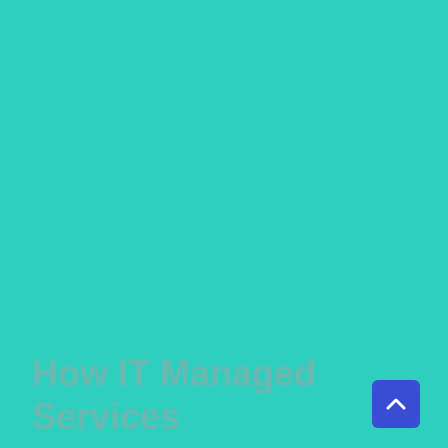[Figure (illustration): Solid teal/turquoise background covering the full page]
How IT Managed Services
[Figure (other): Blue rounded square button with white upward chevron arrow icon, positioned bottom-right]